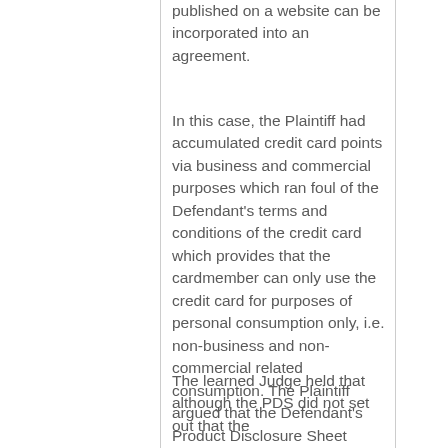published on a website can be incorporated into an agreement.
In this case, the Plaintiff had accumulated credit card points via business and commercial purposes which ran foul of the Defendant's terms and conditions of the credit card which provides that the cardmember can only use the credit card for purposes of personal consumption only, i.e. non-business and non-commercial related consumption. The Plaintiff argued that the Defendant's Product Disclosure Sheet (PDS) which did not explicitly state that the terms and conditions of the Credit Card can be found at www.maybank2u.com.
The learned Judge held that although the PDS did not set out that the